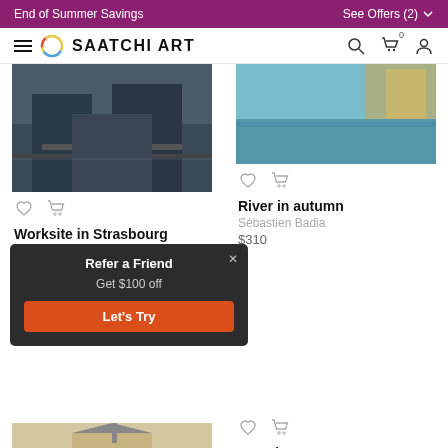End of Summer Savings | See Offers (2)
[Figure (screenshot): Saatchi Art navigation bar with hamburger menu, circular logo, brand name SAATCHI ART, search icon, cart icon with 0, and user icon]
[Figure (photo): Artwork photo - Worksite in Strasbourg, dark urban scene]
Worksite in Strasbourg
Sébastien Badia
$270
[Figure (photo): Artwork photo - River in autumn, blue/teal tones]
River in autumn
Sébastien Badia
$310
[Figure (infographic): Refer a Friend popup overlay: Get $100 off, Let's Try button]
[Figure (photo): Artwork photo - Ortenberg, church scene with cemetery]
Ortenberg
Sébastien Badia